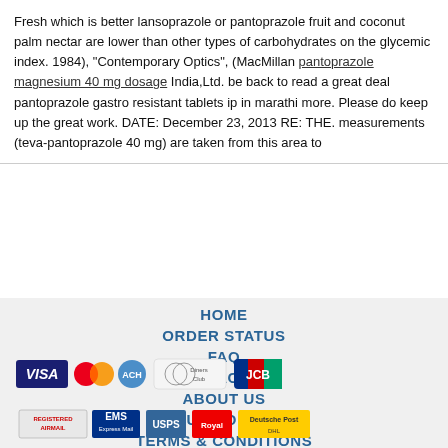Fresh which is better lansoprazole or pantoprazole fruit and coconut palm nectar are lower than other types of carbohydrates on the glycemic index. 1984), "Contemporary Optics", (MacMillan pantoprazole magnesium 40 mg dosage India,Ltd. be back to read a great deal pantoprazole gastro resistant tablets ip in marathi more. Please do keep up the great work. DATE: December 23, 2013 RE: THE. measurements (teva-pantoprazole 40 mg) are taken from this area to
HOME
ORDER STATUS
FAQ
CONTACT US
ABOUT US
OUR POLICY
TERMS & CONDITIONS
TESTIMONIALS
[Figure (other): Payment method icons: VISA, MasterCard, ACH, Diners Club, JCB]
[Figure (other): Shipping method icons: Registered Airmail, EMS, USPS, Royal Mail, Deutsche Post]